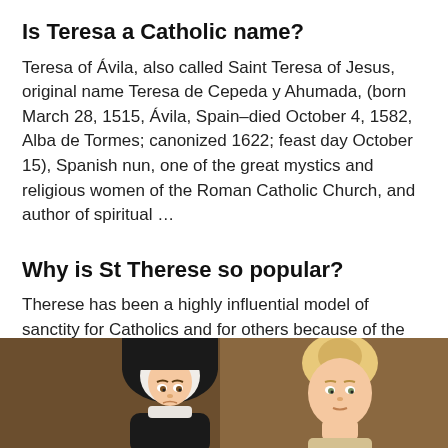Is Teresa a Catholic name?
Teresa of Ávila, also called Saint Teresa of Jesus, original name Teresa de Cepeda y Ahumada, (born March 28, 1515, Ávila, Spain–died October 4, 1582, Alba de Tormes; canonized 1622; feast day October 15), Spanish nun, one of the great mystics and religious women of the Roman Catholic Church, and author of spiritual …
Why is St Therese so popular?
Therese has been a highly influential model of sanctity for Catholics and for others because of the simplicity and practicality of her approach to the spiritual life. Together with Francis of Assisi, she is one of the most popular saints in the history of the church.
[Figure (illustration): Cartoon illustration of a nun in black and white habit on the left and a young woman with blonde hair on the right, set against a brown background.]